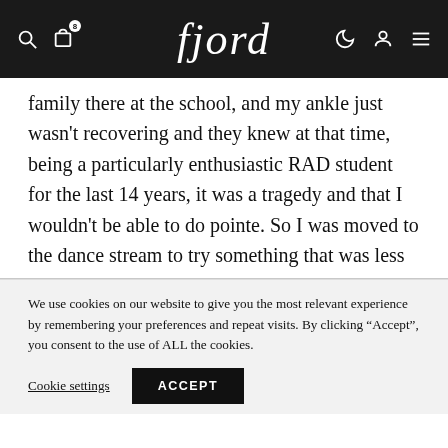fjord
family there at the school, and my ankle just wasn't recovering and they knew at that time, being a particularly enthusiastic RAD student for the last 14 years, it was a tragedy and that I wouldn't be able to do pointe. So I was moved to the dance stream to try something that was less
We use cookies on our website to give you the most relevant experience by remembering your preferences and repeat visits. By clicking “Accept”, you consent to the use of ALL the cookies.
Cookie settings   ACCEPT